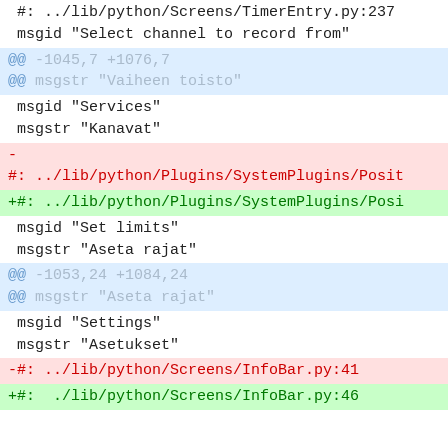#: ../lib/python/Screens/TimerEntry.py:237
msgid "Select channel to record from"
@@ -1045,7 +1076,7 @@
@@ msgstr "Vaiheen toisto"
msgid "Services"
 msgstr "Kanavat"
-
#: ../lib/python/Plugins/SystemPlugins/Posit
+#: ../lib/python/Plugins/SystemPlugins/Posi
 msgid "Set limits"
 msgstr "Aseta rajat"
@@ -1053,24 +1084,24 @@
@@ msgstr "Aseta rajat"
msgid "Settings"
 msgstr "Asetukset"
-#: ../lib/python/Screens/InfoBar.py:41
+#: ../lib/python/Screens/InfoBar.py:46